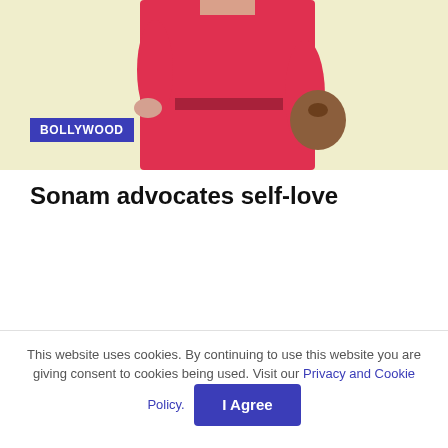[Figure (photo): Woman in red dress and belt with a brown bag, posed against a light yellow background. A blue 'BOLLYWOOD' label badge overlays the lower-left corner of the image.]
Sonam advocates self-love
[Figure (other): Grey advertisement placeholder block]
This website uses cookies. By continuing to use this website you are giving consent to cookies being used. Visit our Privacy and Cookie Policy.